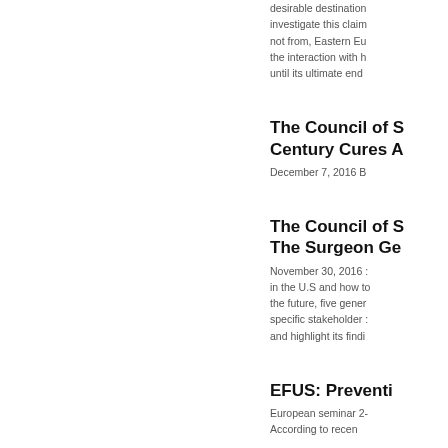desirable destination investigate this claim not from, Eastern Eu the interaction with h until its ultimate end
The Council of S Century Cures A
December 7, 2016 B
The Council of S The Surgeon Ge
November 30, 2016 in the U.S and how to the future, five gener specific stakeholder and highlight its findi
EFUS: Preventi
European seminar 2-
According to recen